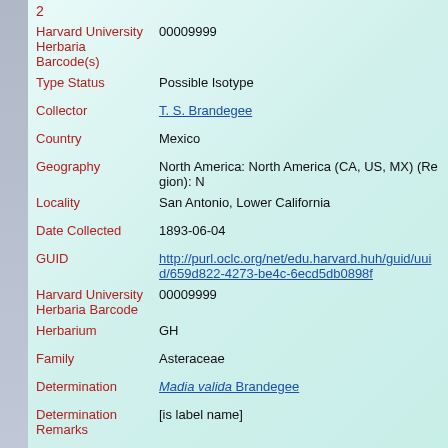2
| Field | Value |
| --- | --- |
| Harvard University Herbaria Barcode(s) | 00009999 |
| Type Status | Possible Isotype |
| Collector | T. S. Brandegee |
| Country | Mexico |
| Geography | North America: North America (CA, US, MX) (Region): N |
| Locality | San Antonio, Lower California |
| Date Collected | 1893-06-04 |
| GUID | http://purl.oclc.org/net/edu.harvard.huh/guid/uuid/659d822-4273-be4c-6ecd5db0898f |
| Harvard University Herbaria Barcode | 00009999 |
| Herbarium | GH |
| Family | Asteraceae |
| Determination | Madia valida Brandegee |
| Determination Remarks | [is label name] |